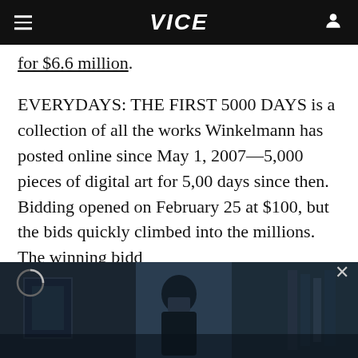VICE
for $6.6 million.
EVERYDAYS: THE FIRST 5000 DAYS is a collection of all the works Winkelmann has posted online since May 1, 2007—5,000 pieces of digital art for 5,00 days since then. Bidding opened on February 25 at $100, but the bids quickly climbed into the millions. The winning bidd...
[Figure (screenshot): Video overlay showing a dark room scene with a person taking a photo in a mirror, partially visible at the bottom of the page. Includes a loading circle icon on the left and an X close button on the right.]